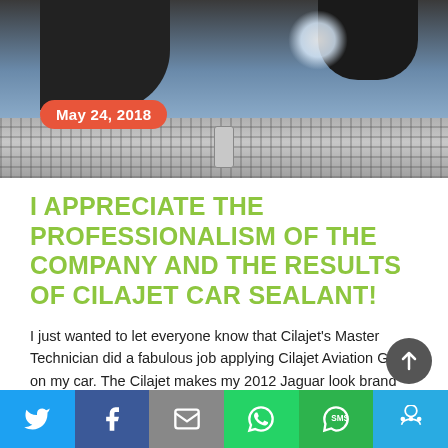[Figure (photo): Car being polished/waxed — dark gloved hand on car roof with bright sun reflection, and chrome grill below. Date badge reads May 24, 2018.]
I APPRECIATE THE PROFESSIONALISM OF THE COMPANY AND THE RESULTS OF CILAJET CAR SEALANT!
I just wanted to let everyone know that Cilajet's Master Technician did a fabulous job applying Cilajet Aviation Grade on my car. The Cilajet makes my 2012 Jaguar look brand new!  The photo of my car hood is not a selfie, it's just the mirror